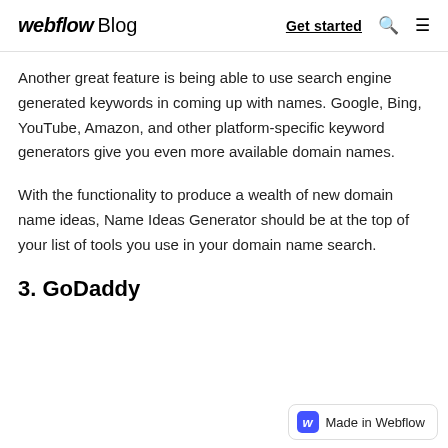webflow Blog — Get started
Another great feature is being able to use search engine generated keywords in coming up with names. Google, Bing, YouTube, Amazon, and other platform-specific keyword generators give you even more available domain names.
With the functionality to produce a wealth of new domain name ideas, Name Ideas Generator should be at the top of your list of tools you use in your domain name search.
3. GoDaddy